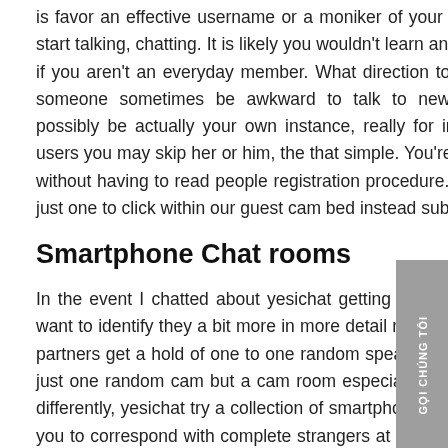is favor an effective username or a moniker of your choice, enter as the visitor and start talking, chatting. It is likely you wouldn't learn any member on your own first-day if you aren't an everyday member. What direction to go up coming? Begin by a hi, someone sometimes be awkward to talk to new-people, that apparent, might possibly be actually your own instance, really for individuals who didn't like most users you may skip her or him, the that simple. You're usually safe and your private without having to read people registration procedure. Speak due to the fact visitor in just one to click within our guest cam bed instead subscription.
Smartphone Chat rooms
In the event I chatted about yesichat getting a mobile-friendly website earlier, I do want to identify they a bit more in more detail right here. A great amount of chat area partners get a hold of one to one random speak for free. Yesichat isn't only a one to just one random cam but a cam room especially for the mobile phones to phrase it differently, yesichat try a collection of smartphone chatrooms that will not only allows you to correspond with complete strangers at random it is and additionally an online talk facility to speak with members of mobile